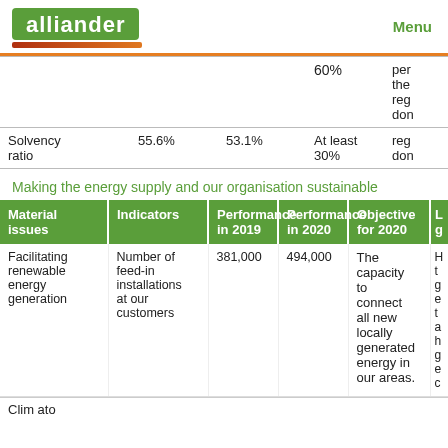alliander   Menu
|  |  |  |  |  |
| --- | --- | --- | --- | --- |
| debt + equity) |  |  | 60% | per the reg don |
| Solvency ratio | 55.6% | 53.1% | At least 30% | reg don |
Making the energy supply and our organisation sustainable
| Material issues | Indicators | Performance in 2019 | Performance in 2020 | Objective for 2020 | L g |
| --- | --- | --- | --- | --- | --- |
| Facilitating renewable energy generation | Number of feed-in installations at our customers | 381,000 | 494,000 | The capacity to connect all new locally generated energy in our areas. | H t g e t a h g e c |
| Clim ato |  |  |  |  |  |